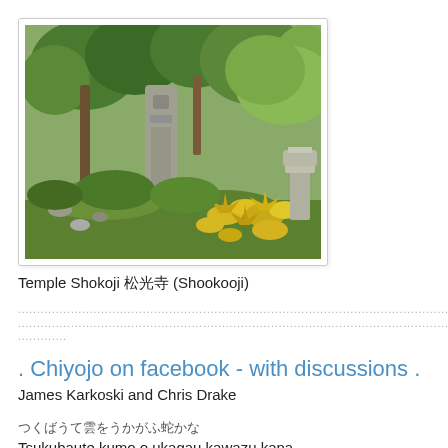[Figure (photo): Japanese temple garden with stone statue/monument surrounded by green trees, shrubs, and yellow flowers. Stone lantern visible on right.]
Temple Shokoji 松光寺 (Shookooji)
.....................................................................................................
.....................................................................................................
...........
. Chiyojo on facebook - with discussions .
James Karkoski and Chris Drake
つくばうて雲をうかがう蛙かな
Tsukubaute kumo o ukagau kawazu kana